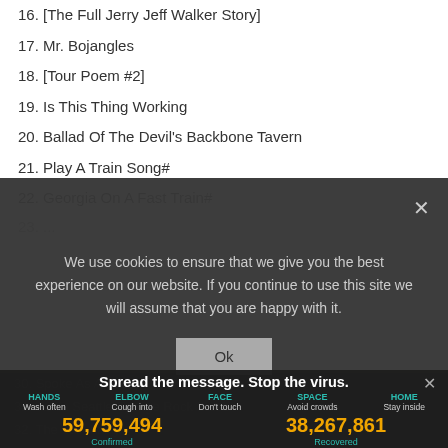16. [The Full Jerry Jeff Walker Story]
17. Mr. Bojangles
18. [Tour Poem #2]
19. Is This Thing Working
20. Ballad Of The Devil's Backbone Tavern
21. Play A Train Song#
22. Georgia On A Fast Train#
We use cookies to ensure that we give you the best experience on our website. If you continue to use this site we will assume that you are happy with it.
30. Spoke As A Child
31. Talkin Seattle Grunge Rock Blues
32. The Last Laugh
33. Age Like Wine (reprise)>
34. Enjoy Yourself
Spread the message. Stop the virus. HANDS Wash often  ELBOW Cough into  FACE Don't touch  SPACE Avoid crowds  HOME Stay inside
59,759,494 Confirmed   38,267,861 Recovered